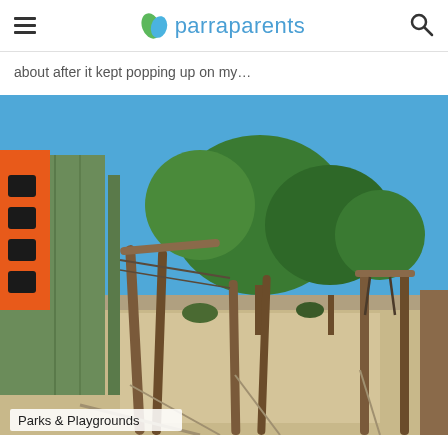parraparents
about after it kept popping up on my…
[Figure (photo): Outdoor playground with wooden structures, rustic log poles, green timber walls with orange panel with cutouts, paved paths, and large trees under a clear blue sky.]
Parks & Playgrounds